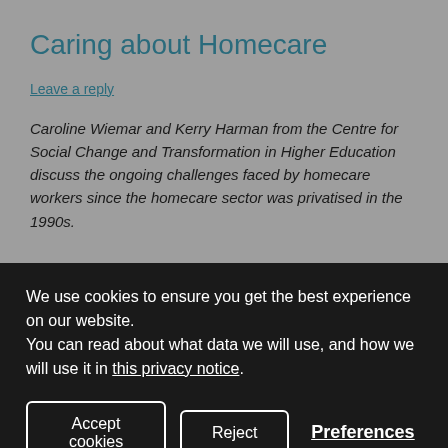Caring about Homecare
Leave a reply
Caroline Wiemar and Kerry Harman from the Centre for Social Change and Transformation in Higher Education discuss the ongoing challenges faced by homecare workers since the homecare sector was privatised in the 1990s.
We use cookies to ensure you get the best experience on our website.
You can read about what data we will use, and how we will use it in this privacy notice.
Accept cookies
Reject
Preferences